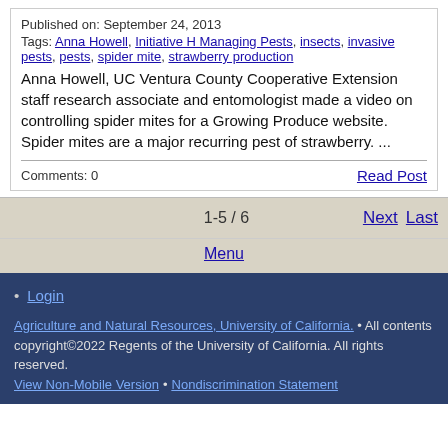Published on: September 24, 2013
Tags: Anna Howell, Initiative H Managing Pests, insects, invasive pests, pests, spider mite, strawberry production
Anna Howell, UC Ventura County Cooperative Extension staff research associate and entomologist made a video on controlling spider mites for a Growing Produce website. Spider mites are a major recurring pest of strawberry. ...
Comments: 0
Read Post
1-5 / 6
Next   Last
Menu
Login
Agriculture and Natural Resources, University of California. • All contents copyright©2022 Regents of the University of California. All rights reserved. View Non-Mobile Version • Nondiscrimination Statement